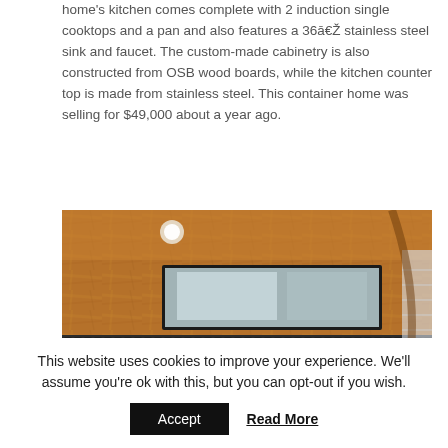home's kitchen comes complete with 2 induction single cooktops and a pan and also features a 36ā€ stainless steel sink and faucet. The custom-made cabinetry is also constructed from OSB wood boards, while the kitchen counter top is made from stainless steel. This container home was selling for $49,000 about a year ago.
[Figure (photo): Interior bathroom photo of a container home showing OSB wood board walls, a horizontal mirror, a metal bowl sink on a shelf, and a white porcelain toilet/sink with faucet. Dark mosaic tile accent strip runs along the walls.]
This website uses cookies to improve your experience. We'll assume you're ok with this, but you can opt-out if you wish.